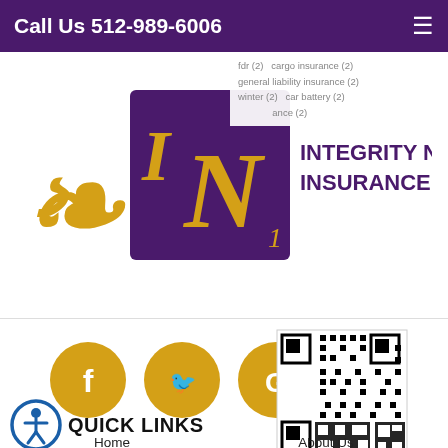Call Us 512-989-6006
[Figure (logo): Integrity Network Insurance Group, LLC logo — purple square with gold cursive 'N' and 'I' letters, with gold swirl accent, and purple bold text 'INTEGRITY NETWORK INSURANCE GROUP, LLC']
fdr (2)  cargo insurance (2)
general liability insurance (2)
winter (2)  car battery (2)
...ance (2)
[Figure (infographic): Row of social media icons: Facebook (f), Twitter (bird), Google (G), LinkedIn (in) — all gold circles. Overlapping QR code.]
[Figure (logo): Integrity Network Insurance Group, LLC logo — smaller version, same purple/gold design]
QUICK LINKS
Home          About Us